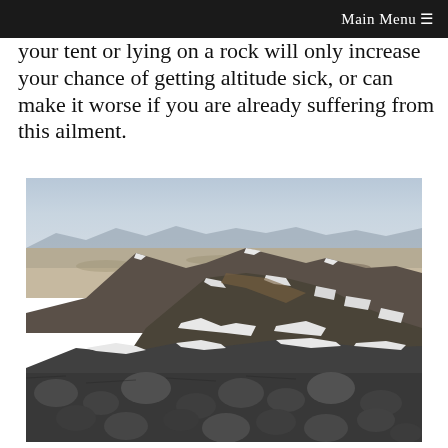Main Menu ≡
your tent or lying on a rock will only increase your chance of getting altitude sick, or can make it worse if you are already suffering from this ailment.
[Figure (photo): Mountain summit view showing rocky foreground with boulders, snow-covered ridgeline peaks in the middle ground, and a vast desert valley with mountains in the distant background under a hazy sky.]